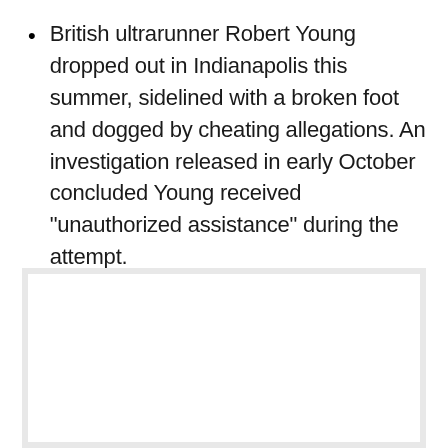British ultrarunner Robert Young dropped out in Indianapolis this summer, sidelined with a broken foot and dogged by cheating allegations. An investigation released in early October concluded Young received “unauthorized assistance” during the attempt.
[Figure (other): Empty white rectangular box with light gray border, no visible content inside.]